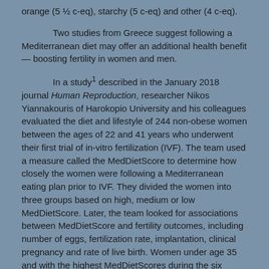orange (5 ½ c-eq), starchy (5 c-eq) and other (4 c-eq).
Two studies from Greece suggest following a Mediterranean diet may offer an additional health benefit — boosting fertility in women and men.
In a study1 described in the January 2018 journal Human Reproduction, researcher Nikos Yiannakouris of Harokopio University and his colleagues evaluated the diet and lifestyle of 244 non-obese women between the ages of 22 and 41 years who underwent their first trial of in-vitro fertilization (IVF). The team used a measure called the MedDietScore to determine how closely the women were following a Mediterranean eating plan prior to IVF. They divided the women into three groups based on high, medium or low MedDietScore. Later, the team looked for associations between MedDietScore and fertility outcomes, including number of eggs, fertilization rate, implantation, clinical pregnancy and rate of live birth. Women under age 35 and with the highest MedDietScores during the six months before